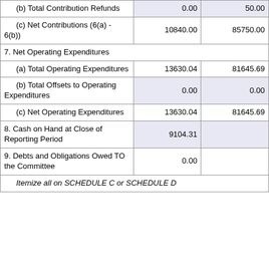| Description | Column 1 | Column 2 |
| --- | --- | --- |
| (b) Total Contribution Refunds | 0.00 | 50.00 |
| (c) Net Contributions (6(a) - 6(b)) | 10840.00 | 85750.00 |
| 7. Net Operating Expenditures |  |  |
| (a) Total Operating Expenditures | 13630.04 | 81645.69 |
| (b) Total Offsets to Operating Expenditures | 0.00 | 0.00 |
| (c) Net Operating Expenditures | 13630.04 | 81645.69 |
| 8. Cash on Hand at Close of Reporting Period | 9104.31 |  |
| 9. Debts and Obligations Owed TO the Committee | 0.00 |  |
| Itemize all on SCHEDULE C or SCHEDULE D |  |  |